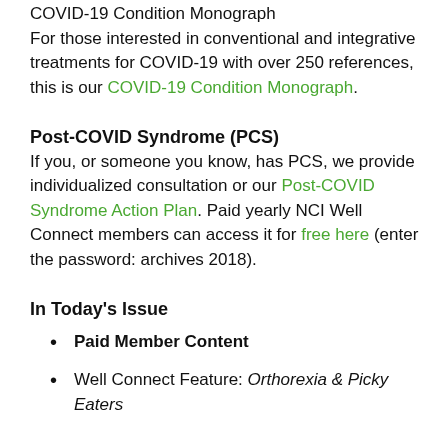COVID-19 Condition Monograph
For those interested in conventional and integrative treatments for COVID-19 with over 250 references, this is our COVID-19 Condition Monograph.
Post-COVID Syndrome (PCS)
If you, or someone you know, has PCS, we provide individualized consultation or our Post-COVID Syndrome Action Plan. Paid yearly NCI Well Connect members can access it for free here (enter the password: archives 2018).
In Today's Issue
Paid Member Content
Well Connect Feature: Orthorexia & Picky Eaters